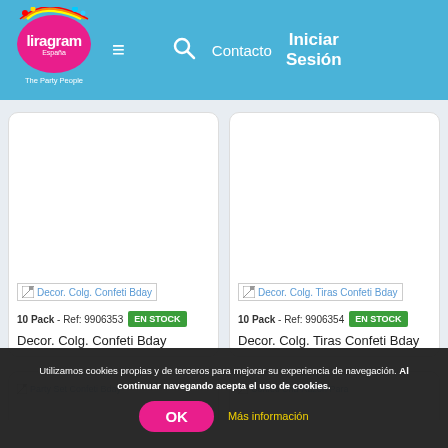Liragram España – The Party People | Contacto | Iniciar Sesión
[Figure (screenshot): Product card: Decor. Colg. Confeti Bday – 10 Pack – Ref: 9906353 – EN STOCK]
10 Pack - Ref: 9906353
EN STOCK
Decor. Colg. Confeti Bday
[Figure (screenshot): Product card: Decor. Colg. Tiras Confeti Bday – 10 Pack – Ref: 9906354 – EN STOCK]
10 Pack - Ref: 9906354
EN STOCK
Decor. Colg. Tiras Confeti Bday
Utilizamos cookies propias y de terceros para mejorar su experiencia de navegación. Al continuar navegando acepta el uso de cookies.
OK
Más información
Party Set Confeti Bday
Confeti Una Razon Para